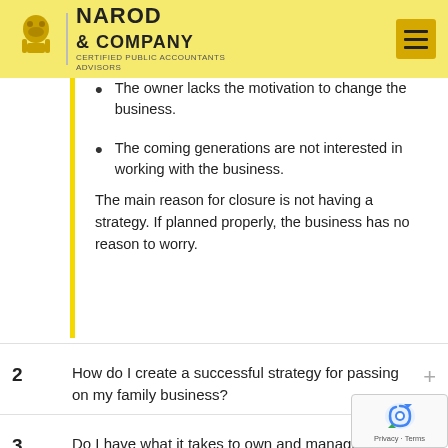Narod & Company — Certified Public Accountants Advisors
The owner lacks the motivation to change the business.
The coming generations are not interested in working with the business.
The main reason for closure is not having a strategy. If planned properly, the business has no reason to worry.
2   How do I create a successful strategy for passing on my family business?
3   Do I have what it takes to own and manage my own business?
4   What should the business strategy contain?